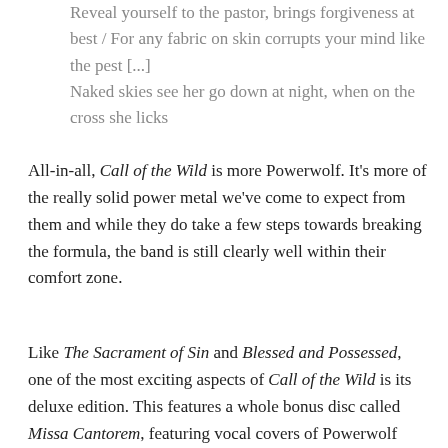Reveal yourself to the pastor, brings forgiveness at best / For any fabric on skin corrupts your mind like the pest [...] Naked skies see her go down at night, when on the cross she licks
All-in-all, Call of the Wild is more Powerwolf. It's more of the really solid power metal we've come to expect from them and while they do take a few steps towards breaking the formula, the band is still clearly well within their comfort zone.
Like The Sacrament of Sin and Blessed and Possessed, one of the most exciting aspects of Call of the Wild is its deluxe edition. This features a whole bonus disc called Missa Cantorem, featuring vocal covers of Powerwolf songs. While I wasn't too keen on the